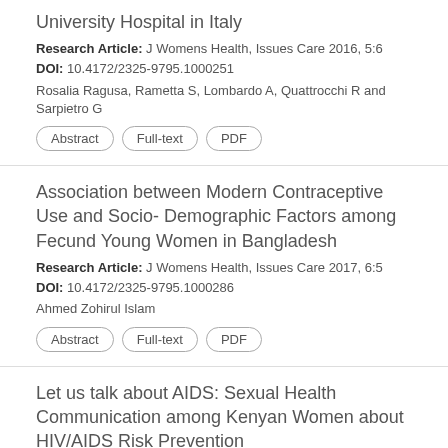University Hospital in Italy
Research Article: J Womens Health, Issues Care 2016, 5:6
DOI: 10.4172/2325-9795.1000251
Rosalia Ragusa, Rametta S, Lombardo A, Quattrocchi R and Sarpietro G
Abstract | Full-text | PDF
Association between Modern Contraceptive Use and Socio- Demographic Factors among Fecund Young Women in Bangladesh
Research Article: J Womens Health, Issues Care 2017, 6:5
DOI: 10.4172/2325-9795.1000286
Ahmed Zohirul Islam
Abstract | Full-text | PDF
Let us talk about AIDS: Sexual Health Communication among Kenyan Women about HIV/AIDS Risk Prevention
Research Article: J Womens Health, Issues Care 2016, 5:2
DOI: 10.4172/2325-9795.1000225